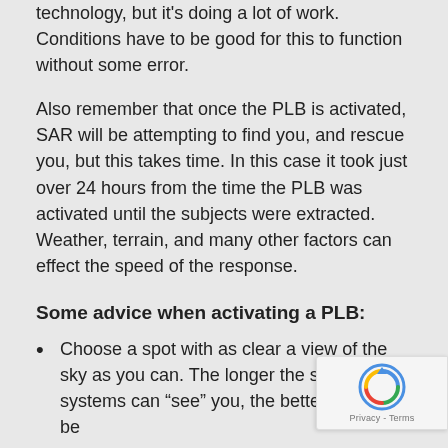technology, but it's doing a lot of work. Conditions have to be good for this to function without some error.
Also remember that once the PLB is activated, SAR will be attempting to find you, and rescue you, but this takes time. In this case it took just over 24 hours from the time the PLB was activated until the subjects were extracted. Weather, terrain, and many other factors can effect the speed of the response.
Some advice when activating a PLB:
Choose a spot with as clear a view of the sky as you can. The longer the satellite systems can “see” you, the better the fix will be
An air search is almost certain. If possible choo place with a clearing that you can be visible from the